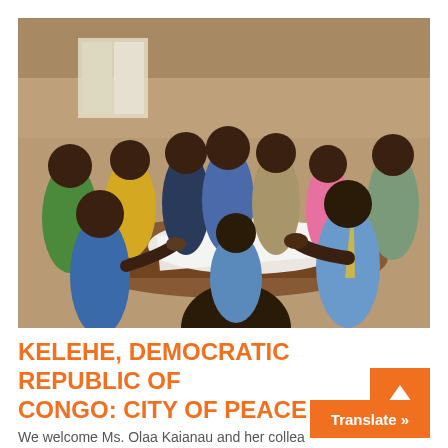[Figure (photo): Group of African men gathered around a table indoors, reviewing a large sheet of paper or map. They are in a mud-brick building. Some are standing, some seated. One man in center wears a blue denim jacket, others in various colored shirts. Two men in foreground appear to be handling the document.]
KELEHE, DEMOCRATIC REPUBLIC OF CONGO: CITY OF PEACE
We welcome Ms. Olaa Kaianau and her collea